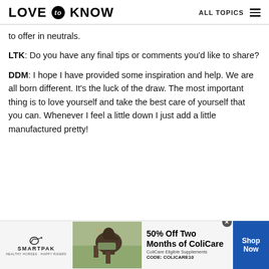LOVE to KNOW   ALL TOPICS
to offer in neutrals.
LTK: Do you have any final tips or comments you'd like to share?
DDM: I hope I have provided some inspiration and help. We are all born different. It's the luck of the draw. The most important thing is to love yourself and take the best care of yourself that you can. Whenever I feel a little down I just add a little manufactured pretty!
[Figure (other): SmartPak advertisement banner with horse and rider image, 50% Off Two Months of ColiCare offer, code COLICARE10, Shop Now button]